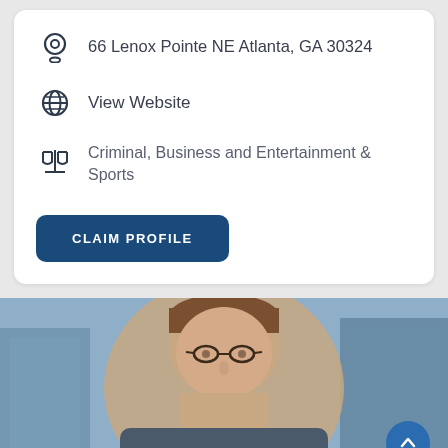66 Lenox Pointe NE Atlanta, GA 30324
View Website
Criminal, Business and Entertainment & Sports
CLAIM PROFILE
[Figure (photo): Partial photo of a man with glasses and brown hair, with a blurred city building background]